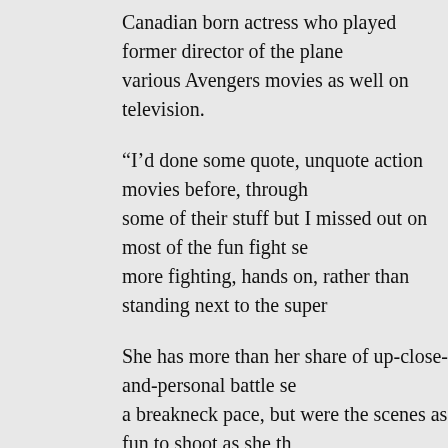Canadian born actress who played former director of the plane various Avengers movies as well on television.
“I’d done some quote, unquote action movies before, through some of their stuff but I missed out on most of the fun fight se more fighting, hands on, rather than standing next to the super
She has more than her share of up-close-and-personal battle se a breakneck pace, but were the scenes as fun to shoot as she th
“That’s a great question because sometimes they are not,” she on. When it is fast and intense, they’re really fun because it’s l dance with somebody. But when they drag on and it becomes a the picking up of the meat tenderizer and we have to do it from it.”
A magical experience or not, Smulders, who will next be seen opposite Arnold Schwarzenegger, says the scenes helped her p
“For me all the training and all the fighting helped me get into would push past breaking points and think, I can’t take this an easier. It was really painful at first but I always kept that in th